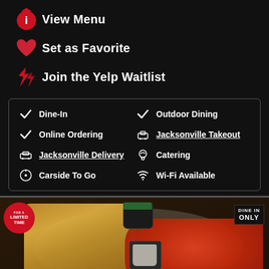View Menu
Set as Favorite
Join the Yelp Waitlist
Dine-In, Online Ordering, Jacksonville Delivery, Carside To Go, Outdoor Dining, Jacksonville Takeout, Catering, Wi-Fi Available
[Figure (photo): Food photo showing a plate with french fries, buffalo wings with orange sauce, dipping sauces (ranch and dark sauce), and a side salad. Limited Time badge on left, Dine In Only badge on right. Navigation arrows on both sides.]